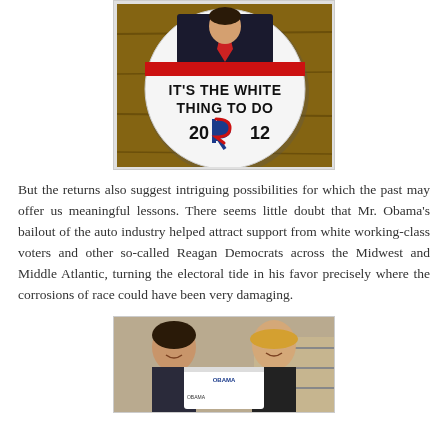[Figure (photo): A campaign button reading 'IT'S THE WHITE THING TO DO 2012' with a Romney logo, displayed on a wooden surface. The button shows a man in a suit with a red tie at the top.]
But the returns also suggest intriguing possibilities for which the past may offer us meaningful lessons. There seems little doubt that Mr. Obama's bailout of the auto industry helped attract support from white working-class voters and other so-called Reagan Democrats across the Midwest and Middle Atlantic, turning the electoral tide in his favor precisely where the corrosions of race could have been very damaging.
[Figure (photo): Two women smiling and holding a white Obama campaign t-shirt, photographed in what appears to be a store or volunteer location.]